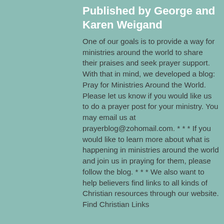Published by George and Karen Weigand
One of our goals is to provide a way for ministries around the world to share their praises and seek prayer support. With that in mind, we developed a blog: Pray for Ministries Around the World. Please let us know if you would like us to do a prayer post for your ministry. You may email us at prayerblog@zohomail.com. * * * If you would like to learn more about what is happening in ministries around the world and join us in praying for them, please follow the blog. * * * We also want to help believers find links to all kinds of Christian resources through our website. Find Christian Links
[Figure (photo): Circular portrait photo of a couple (George and Karen Weigand), man in light blue shirt and woman in dark clothing, standing in an outdoor green setting]